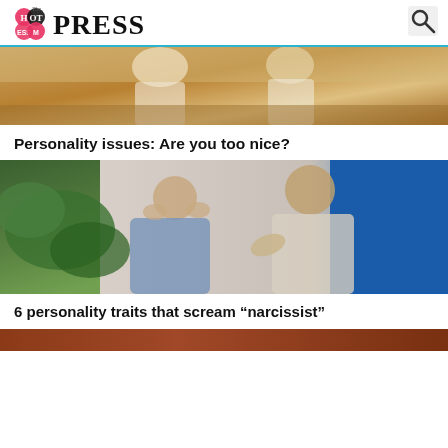Hot Mess Press (logo with search icon)
[Figure (photo): Two women outdoors, warm golden tones, one with long blonde hair, one with dark hair, appearing to have a conversation or argument]
Personality issues: Are you too nice?
[Figure (photo): A woman holding her head in distress while a man with curly dark hair gestures and speaks angrily at her, with a plant and blue background]
6 personality traits that scream “narcissist”
[Figure (photo): Partial view of a brownish-red image at the bottom of the page]